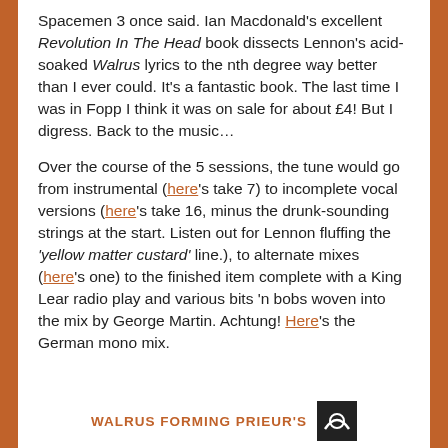Spacemen 3 once said. Ian Macdonald's excellent Revolution In The Head book dissects Lennon's acid-soaked Walrus lyrics to the nth degree way better than I ever could. It's a fantastic book. The last time I was in Fopp I think it was on sale for about £4! But I digress. Back to the music…
Over the course of the 5 sessions, the tune would go from instrumental (here's take 7) to incomplete vocal versions (here's take 16, minus the drunk-sounding strings at the start. Listen out for Lennon fluffing the 'yellow matter custard' line.), to alternate mixes (here's one) to the finished item complete with a King Lear radio play and various bits 'n bobs woven into the mix by George Martin. Achtung! Here's the German mono mix.
WALRUS FORMING PRIEUR'S